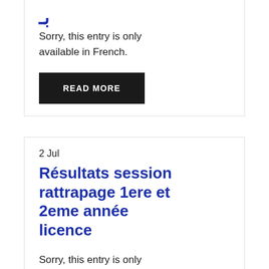بـ
Sorry, this entry is only available in French.
READ MORE
2 Jul
Résultats session rattrapage 1ere et 2eme année licence
Sorry, this entry is only available in French.